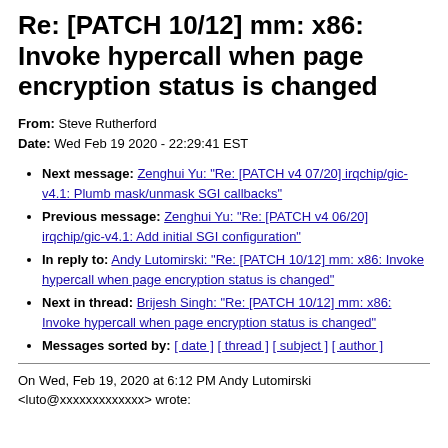Re: [PATCH 10/12] mm: x86: Invoke hypercall when page encryption status is changed
From: Steve Rutherford
Date: Wed Feb 19 2020 - 22:29:41 EST
Next message: Zenghui Yu: "Re: [PATCH v4 07/20] irqchip/gic-v4.1: Plumb mask/unmask SGI callbacks"
Previous message: Zenghui Yu: "Re: [PATCH v4 06/20] irqchip/gic-v4.1: Add initial SGI configuration"
In reply to: Andy Lutomirski: "Re: [PATCH 10/12] mm: x86: Invoke hypercall when page encryption status is changed"
Next in thread: Brijesh Singh: "Re: [PATCH 10/12] mm: x86: Invoke hypercall when page encryption status is changed"
Messages sorted by: [ date ] [ thread ] [ subject ] [ author ]
On Wed, Feb 19, 2020 at 6:12 PM Andy Lutomirski <luto@xxxxxxxxxxxxx> wrote: